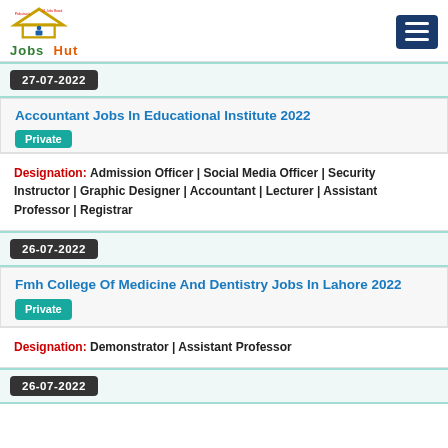Jobs Hut
27-07-2022
Accountant Jobs In Educational Institute 2022 Private
Designation: Admission Officer | Social Media Officer | Security Instructor | Graphic Designer | Accountant | Lecturer | Assistant Professor | Registrar
26-07-2022
Fmh College Of Medicine And Dentistry Jobs In Lahore 2022 Private
Designation: Demonstrator | Assistant Professor
26-07-2022